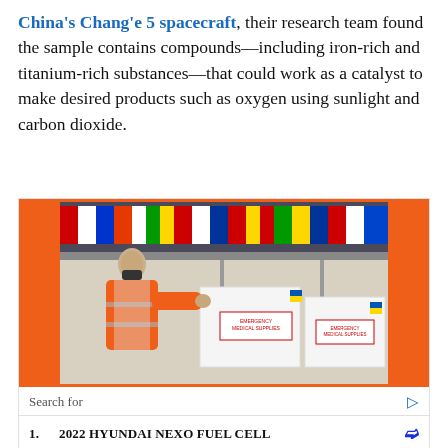China's Chang'e 5 spacecraft, their research team found the sample contains compounds—including iron-rich and titanium-rich substances—that could work as a catalyst to make desired products such as oxygen using sunlight and carbon dioxide.
[Figure (photo): Advertisement image showing a warehouse worker in an orange safety vest and face mask handling large white boxes labeled Emergency Medical Supplies, with colorful international flags hanging from the ceiling. Orange border around the photo.]
Search for
1. 2022 HYUNDAI NEXO FUEL CELL
2. HYDROGEN FUEL CELL STOCKS TO
Yahoo! Search | Sponsored